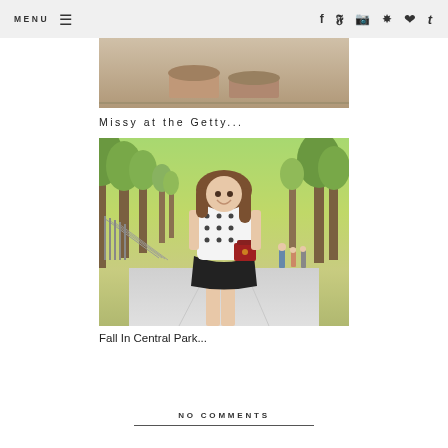MENU | social icons: facebook, twitter, instagram, pinterest, bloglovin, tumblr
[Figure (photo): Cropped bottom portion of a photo showing someone's legs and heels/shoes against a concrete background]
Missy at the Getty...
[Figure (photo): A young woman in a white printed top, black skirt, and red bag standing in Central Park with tree-lined path behind her]
Fall In Central Park...
NO COMMENTS